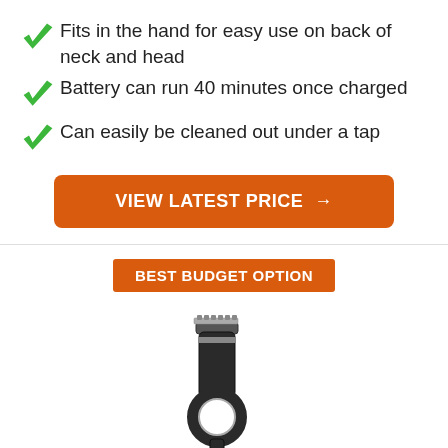Fits in the hand for easy use on back of neck and head
Battery can run 40 minutes once charged
Can easily be cleaned out under a tap
VIEW LATEST PRICE →
BEST BUDGET OPTION
[Figure (photo): Black hair clipper trimmer with silver accents and a cord, shown at an angle]